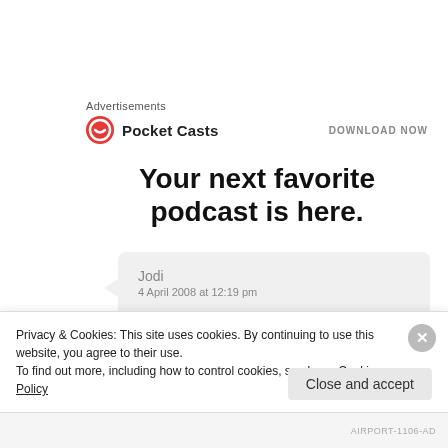Advertisements
[Figure (logo): Pocket Casts logo with red circular icon and text 'Pocket Casts' with 'DOWNLOAD NOW' button on the right]
Your next favorite podcast is here.
Jodi
4 April 2008 at 12:19 pm

Cheese? In pudding form? Why have I never had this before??
Privacy & Cookies: This site uses cookies. By continuing to use this website, you agree to their use.
To find out more, including how to control cookies, see here: Cookie Policy
Close and accept